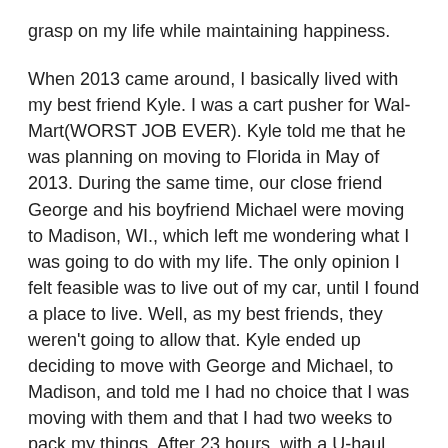grasp on my life while maintaining happiness.
When 2013 came around, I basically lived with my best friend Kyle. I was a cart pusher for Wal-Mart(WORST JOB EVER). Kyle told me that he was planning on moving to Florida in May of 2013. During the same time, our close friend George and his boyfriend Michael were moving to Madison, WI., which left me wondering what I was going to do with my life. The only opinion I felt feasible was to live out of my car, until I found a place to live. Well, as my best friends, they weren't going to allow that. Kyle ended up deciding to move with George and Michael, to Madison, and told me I had no choice that I was moving with them and that I had two weeks to pack my things. After 23 hours, with a U-haul and my car attached to the back of it, here I am. I walk into the door to our new apartment with tears of joy.
Being I was new to the area and single, I downloaded the app Grindr, trying to get an understanding about the gay